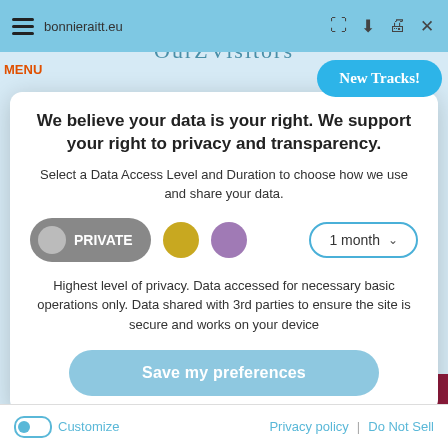bonnieraitt.eu
We believe your data is your right. We support your right to privacy and transparency.
Select a Data Access Level and Duration to choose how we use and share your data.
PRIVATE | 1 month
Highest level of privacy. Data accessed for necessary basic operations only. Data shared with 3rd parties to ensure the site is secure and works on your device
Save my preferences
Customize  Privacy policy  |  Do Not Sell
Search Archive